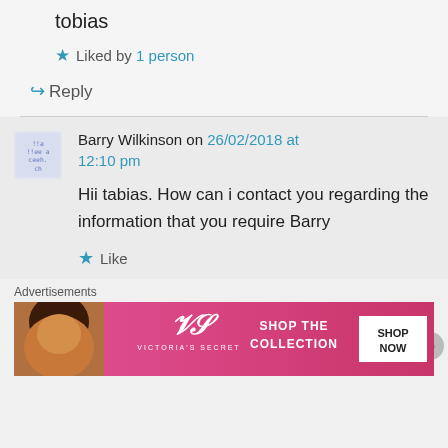tobias
Liked by 1 person
Reply
Barry Wilkinson on 26/02/2018 at 12:10 pm
Hii tabias. How can i contact you regarding the information that you require Barry
Like
Advertisements
[Figure (photo): Victoria's Secret advertisement banner with model, VS logo, 'SHOP THE COLLECTION' text and 'SHOP NOW' button]